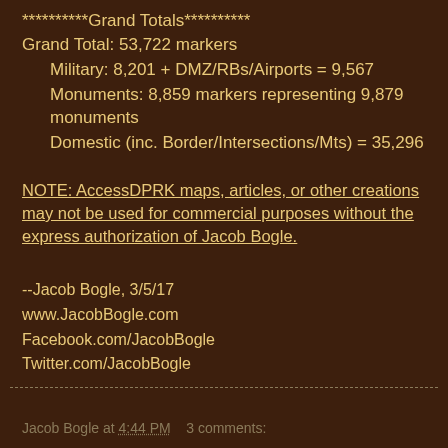**********Grand Totals**********
Grand Total: 53,722 markers
    Military: 8,201 + DMZ/RBs/Airports = 9,567
    Monuments: 8,859 markers representing 9,879 monuments
    Domestic (inc. Border/Intersections/Mts) = 35,296
NOTE: AccessDPRK maps, articles, or other creations may not be used for commercial purposes without the express authorization of Jacob Bogle.
--Jacob Bogle, 3/5/17
www.JacobBogle.com
Facebook.com/JacobBogle
Twitter.com/JacobBogle
Jacob Bogle at 4:44 PM    3 comments: